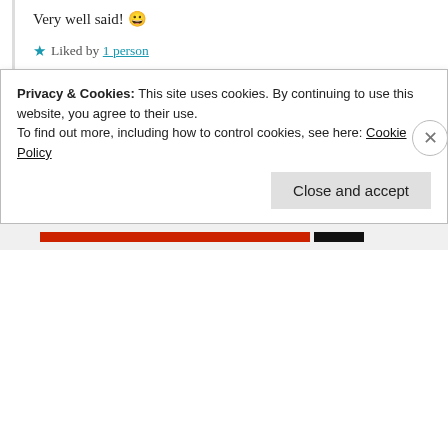Very well said! 😀
★ Liked by 1 person
Log in to Reply
The Wheelchair Teen
10th Jul 2021 at 12:10 pm
Very true – even when things aren't going according to our plan, they're going according to
Privacy & Cookies: This site uses cookies. By continuing to use this website, you agree to their use. To find out more, including how to control cookies, see here: Cookie Policy
Close and accept